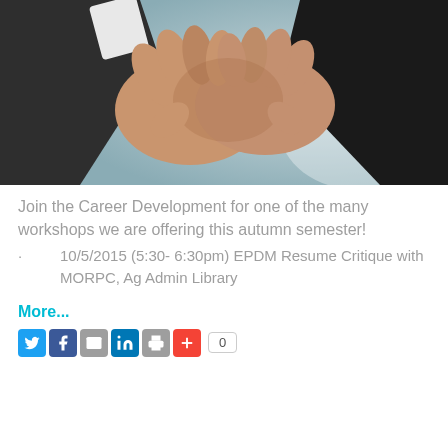[Figure (photo): Close-up photograph of two people shaking hands, wearing business attire, with a blurred background.]
Join the Career Development for one of the many workshops we are offering this autumn semester!
· 10/5/2015 (5:30- 6:30pm) EPDM Resume Critique with MORPC, Ag Admin Library
More...
[Figure (infographic): Social media sharing bar with Twitter, Facebook, Email, LinkedIn, print, and plus icons, followed by a share count box showing 0.]